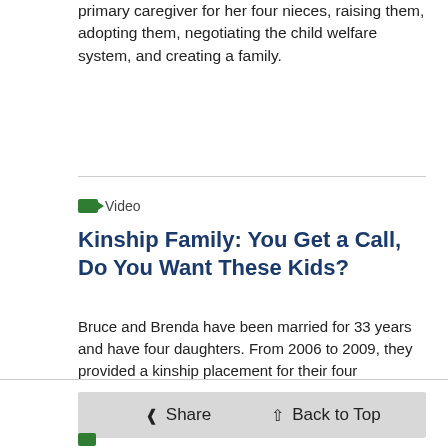primary caregiver for her four nieces, raising them, adopting them, negotiating the child welfare system, and creating a family.
Video
Kinship Family: You Get a Call, Do You Want These Kids?
Bruce and Brenda have been married for 33 years and have four daughters. From 2006 to 2009, they provided a kinship placement for their four grandchildren. In 2010, the couple adopted Bruce (now 18 years old), Tre'Nae (now 15 years old), Mason (now 13 years old), and Kiaunna (now 10 years old).
Share   Back to Top